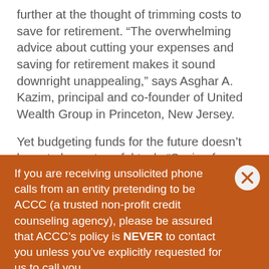further at the thought of trimming costs to save for retirement. “The overwhelming advice about cutting your expenses and saving for retirement makes it sound downright unappealing,” says Asghar A. Kazim, principal and co-founder of United Wealth Group in Princeton, New Jersey.
Yet budgeting funds for the future doesn’t have to be a stressful task. “Saving for retirement should be tolerable and maybe even enjoyable,” Kazim says. “You are putting money aside to secure the type of retirement you’ve earned.” To clear up financial worries about retirement,
If you are receiving unsolicited phone calls from an entity pretending to be ACCC (a trusted non-profit credit counseling agency), please be assured that ACCC’s policy is NEVER to contact you unless you’ve explicitly requested for us to call you.